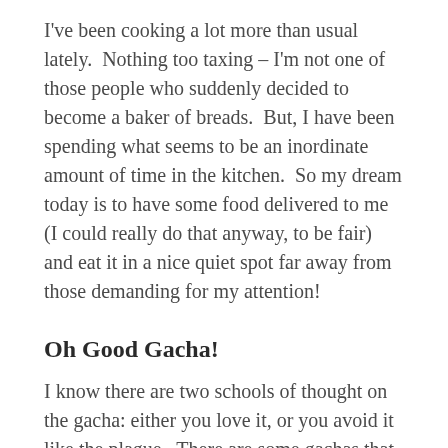I've been cooking a lot more than usual lately.  Nothing too taxing – I'm not one of those people who suddenly decided to become a baker of breads.  But, I have been spending what seems to be an inordinate amount of time in the kitchen.  So my dream today is to have some food delivered to me (I could really do that anyway, to be fair) and eat it in a nice quiet spot far away from those demanding for my attention!
Oh Good Gacha!
I know there are two schools of thought on the gacha: either you love it, or you avoid it like the plague.  There are some gachas that I know I can count on to deliver a wearable outfit on every pull, and Amitomo is consistently one of my favourites.  They never disappoint and I look forward to their offerings at Kustom9 every month.  This month's outfit is this cute top and jeans combo (sized for